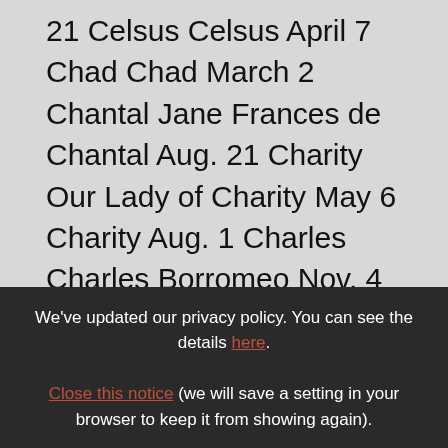21 Celsus Celsus April 7 Chad Chad March 2 Chantal Jane Frances de Chantal Aug. 21 Charity Our Lady of Charity May 6 Charity Aug. 1 Charles Charles Borromeo Nov. 4 Charles Garnier Sept. 26 Charles Lwanga June 3 Charles Spinola Sept. 10 Charlotte Charlotte July 24 Cheryl Our Lady of the Carol July 3 Chiara Clare of Assisi Aug. 12 Chloe Chloe Nov. 1 Christian Christian March 18 Christie see Christina Christina Christina July 24 Christine see Christina Christopher Christopher July 25
We've updated our privacy policy. You can see the details here. Close this notice (we will save a setting in your browser to keep it from showing again).